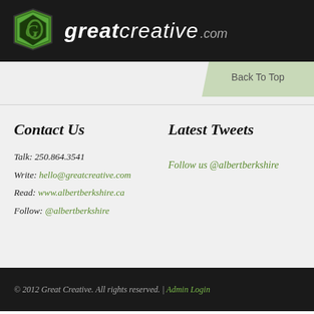[Figure (logo): greatcreative.com logo with green diamond/hexagon icon and white italic text on black background]
Back To Top
Contact Us
Latest Tweets
Talk: 250.864.3541
Write: hello@greatcreative.com
Read: www.albertberkshire.ca
Follow: @albertberkshire
Follow us @albertberkshire
© 2012 Great Creative. All rights reserved. | Admin Login